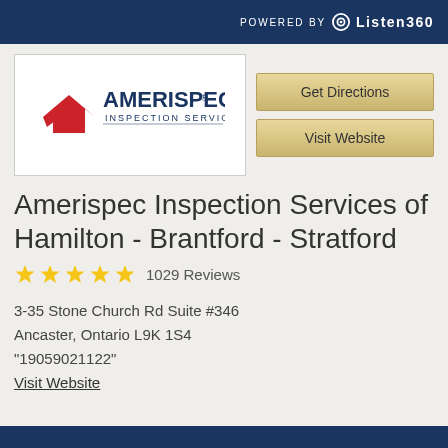POWERED BY Listen360
[Figure (logo): AmeriSpec Inspection Services logo with red house/arrow icon and blue text]
Get Directions
Visit Website
Amerispec Inspection Services of Hamilton - Brantford - Stratford
1029 Reviews
3-35 Stone Church Rd Suite #346
Ancaster, Ontario L9K 1S4
"19059021122"
Visit Website